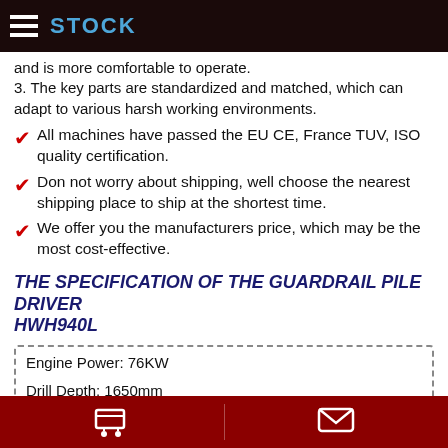STOCK
and is more comfortable to operate.
3. The key parts are standardized and matched, which can adapt to various harsh working environments.
All machines have passed the EU CE, France TUV, ISO quality certification.
Don not worry about shipping, well choose the nearest shipping place to ship at the shortest time.
We offer you the manufacturers price, which may be the most cost-effective.
THE SPECIFICATION OF THE GUARDRAIL PILE DRIVER HWH940L
| Engine Power: 76KW |
| Drill Depth: 1650mm |